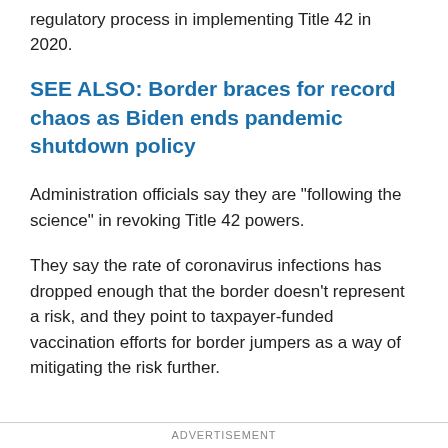regulatory process in implementing Title 42 in 2020.
SEE ALSO: Border braces for record chaos as Biden ends pandemic shutdown policy
Administration officials say they are “following the science” in revoking Title 42 powers.
They say the rate of coronavirus infections has dropped enough that the border doesn’t represent a risk, and they point to taxpayer-funded vaccination efforts for border jumpers as a way of mitigating the risk further.
ADVERTISEMENT